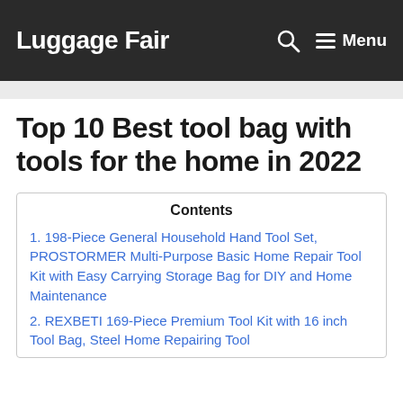Luggage Fair | Menu
Top 10 Best tool bag with tools for the home in 2022
Contents
1. 198-Piece General Household Hand Tool Set, PROSTORMER Multi-Purpose Basic Home Repair Tool Kit with Easy Carrying Storage Bag for DIY and Home Maintenance
2. REXBETI 169-Piece Premium Tool Kit with 16 inch Tool Bag, Steel Home Repairing Tool